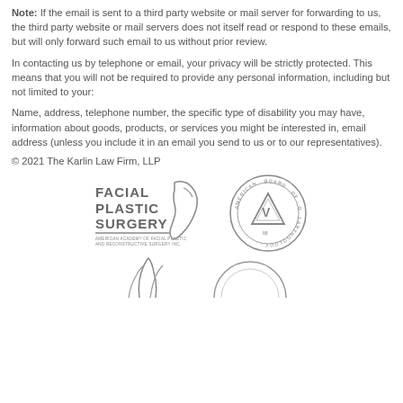Note: If the email is sent to a third party website or mail server for forwarding to us, the third party website or mail servers does not itself read or respond to these emails, but will only forward such email to us without prior review.
In contacting us by telephone or email, your privacy will be strictly protected. This means that you will not be required to provide any personal information, including but not limited to your:
Name, address, telephone number, the specific type of disability you may have, information about goods, products, or services you might be interested in, email address (unless you include it in an email you send to us or to our representatives).
© 2021 The Karlin Law Firm, LLP
[Figure (logo): Facial Plastic Surgery — American Academy of Facial Plastic and Reconstructive Surgery Inc. logo]
[Figure (logo): American Board of Otolaryngology seal/emblem]
[Figure (logo): Partial logos visible at bottom of page]